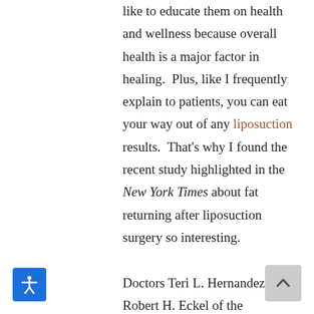like to educate them on health and wellness because overall health is a major factor in healing.  Plus, like I frequently explain to patients, you can eat your way out of any liposuction results.  That's why I found the recent study highlighted in the New York Times about fat returning after liposuction surgery so interesting.

Doctors Teri L. Hernandez and Robert H. Eckel of the University of Colorado conducted a study to determine whether or not fat